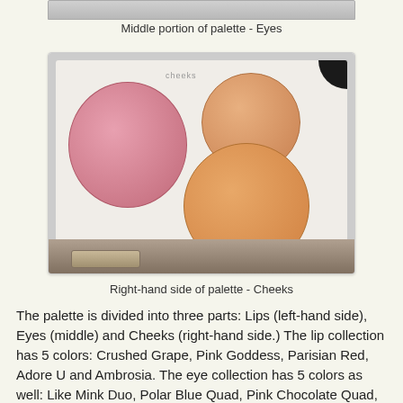[Figure (photo): Top cropped portion of a makeup palette showing the eyes section, partially visible at top of page]
Middle portion of palette - Eyes
[Figure (photo): Right-hand side of a makeup palette showing three blush/cheek colors: a large pink blush on the left, an orange blush on the upper right, and an orange blush on the lower right. A brush is visible at the bottom. The palette section is labeled 'cheeks'.]
Right-hand side of palette - Cheeks
The palette is divided into three parts: Lips (left-hand side), Eyes (middle) and Cheeks (right-hand side.)  The lip collection has 5 colors: Crushed Grape, Pink Goddess, Parisian Red, Adore U and Ambrosia.  The eye collection has 5 colors as well: Like Mink Duo, Polar Blue Quad, Pink Chocolate Quad, Pure Cocoa and Plum Potion Duo.  The last portion (cheeks) has three colors: Pink Love (one of my